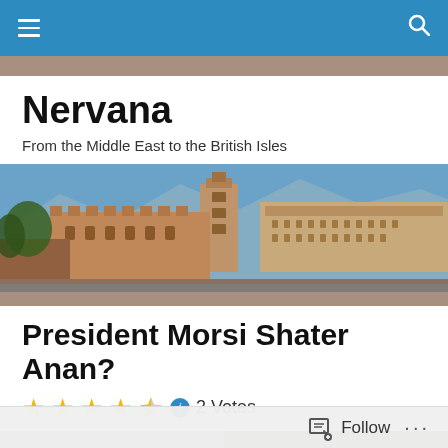Nervana — navigation bar with hamburger menu and search icon
Nervana
From the Middle East to the British Isles
[Figure (photo): Panoramic banner photo of a historic palace or fortress complex (resembling the Alhambra) with towers, arches, and mountains in the background under a blue sky.]
President Morsi Shater Anan?
2 Votes
[Figure (photo): Two partial portrait photos side by side at the bottom of the page, both cropped — left shows top of a man's head, right shows another person.]
Follow